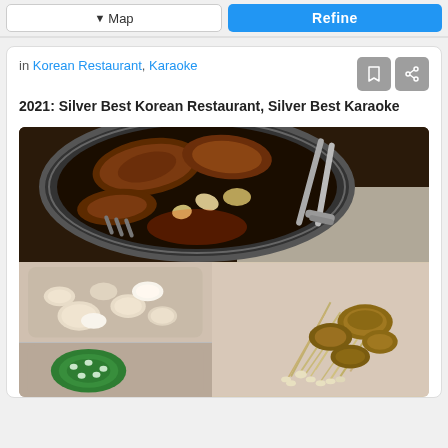[Figure (screenshot): Top bar with Map button and Refine button on gray background]
in Korean Restaurant, Karaoke
2021:  Silver Best Korean Restaurant, Silver Best Karaoke
[Figure (photo): Korean BBQ grill with meat, garlic, mushrooms visible on grill; side dishes with garlic cloves and jalapeño in bottom left; mushrooms/bean sprouts in bottom right on pink tray]